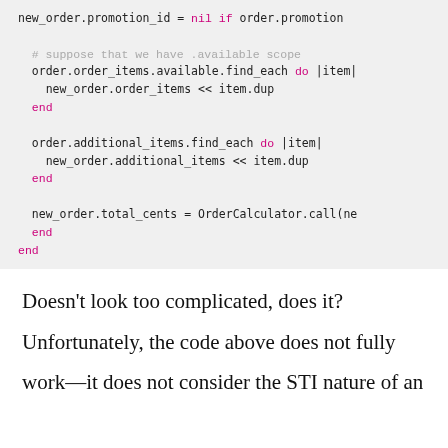new_order.promotion_id = nil if order.promotion
# suppose that we have .available scope
order.order_items.available.find_each do |item|
  new_order.order_items << item.dup
end

order.additional_items.find_each do |item|
  new_order.additional_items << item.dup
end

new_order.total_cents = OrderCalculator.call(ne
  end
end
Doesn't look too complicated, does it?
Unfortunately, the code above does not fully
work—it does not consider the STI nature of an